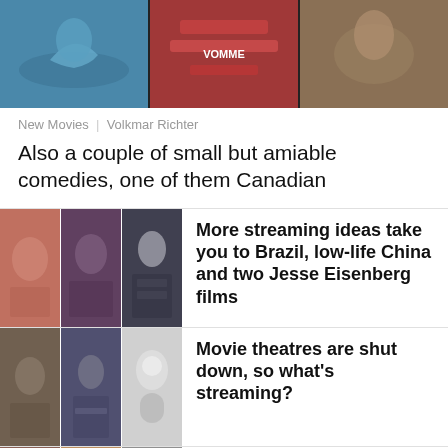[Figure (photo): Three horizontal photo panels at top: dolphin in water, protest with Canadian flag signs, animal closeup]
New Movies  |  Volkmar Richter
Also a couple of small but amiable comedies, one of them Canadian
[Figure (photo): Three photo panels: group of people, young Asian person, dancer/figure in white]
More streaming ideas take you to Brazil, low-life China and two Jesse Eisenberg films
[Figure (photo): Three photo panels: pope and cardinal, person with laptop, white robot]
Movie theatres are shut down, so what's streaming?
[Figure (photo): Three photo panels: woman with jewelry, woman in red, woman in white hijab]
Three women lead off a long line-up of new movies in town